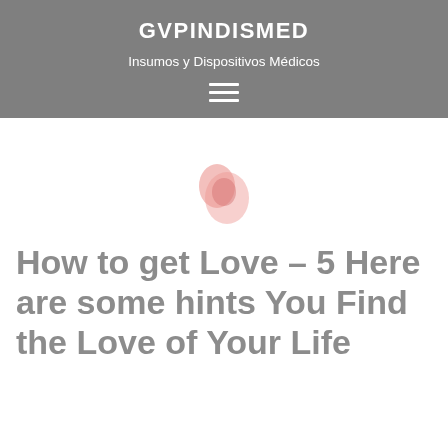GVPINDISMED
Insumos y Dispositivos Médicos
[Figure (illustration): Small pink oval/blob icon centered on white background]
How to get Love – 5 Here are some hints You Find the Love of Your Life